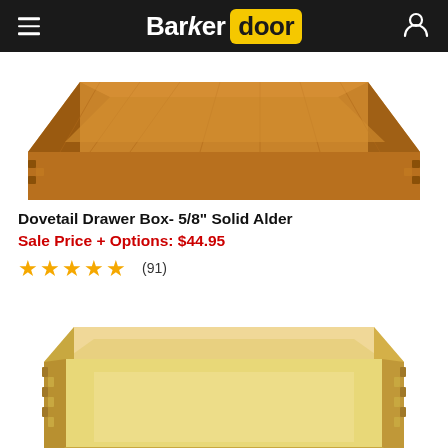Barker Door
[Figure (photo): Top-down angled view of a dark wood dovetail drawer box with honey/amber finish showing dovetail joinery]
Dovetail Drawer Box- 5/8" Solid Alder
Sale Price + Options: $44.95
★★★★★ (91)
[Figure (photo): Perspective view of a light natural wood (alder) dovetail drawer box with visible dovetail joints at the corners and a plywood bottom]